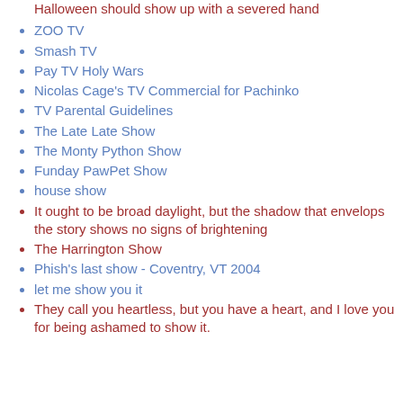Halloween should show up with a severed hand
ZOO TV
Smash TV
Pay TV Holy Wars
Nicolas Cage's TV Commercial for Pachinko
TV Parental Guidelines
The Late Late Show
The Monty Python Show
Funday PawPet Show
house show
It ought to be broad daylight, but the shadow that envelops the story shows no signs of brightening
The Harrington Show
Phish's last show - Coventry, VT 2004
let me show you it
They call you heartless, but you have a heart, and I love you for being ashamed to show it.